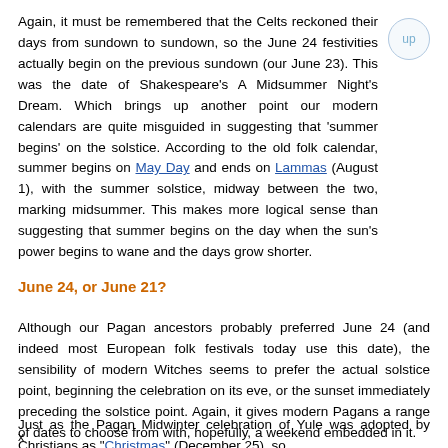Again, it must be remembered that the Celts reckoned their days from sundown to sundown, so the June 24 festivities actually begin on the previous sundown (our June 23). This was the date of Shakespeare's A Midsummer Night's Dream. Which brings up another point our modern calendars are quite misguided in suggesting that 'summer begins' on the solstice. According to the old folk calendar, summer begins on May Day and ends on Lammas (August 1), with the summer solstice, midway between the two, marking midsummer. This makes more logical sense than suggesting that summer begins on the day when the sun's power begins to wane and the days grow shorter.
June 24, or June 21?
Although our Pagan ancestors probably preferred June 24 (and indeed most European folk festivals today use this date), the sensibility of modern Witches seems to prefer the actual solstice point, beginning the celebration on its eve, or the sunset immediately preceding the solstice point. Again, it gives modern Pagans a range of dates to choose from with, hopefully, a weekend embedded in it.
Just as the Pagan Midwinter celebration of Yule was adopted by Christians as "Christmas" (December 25), so
x